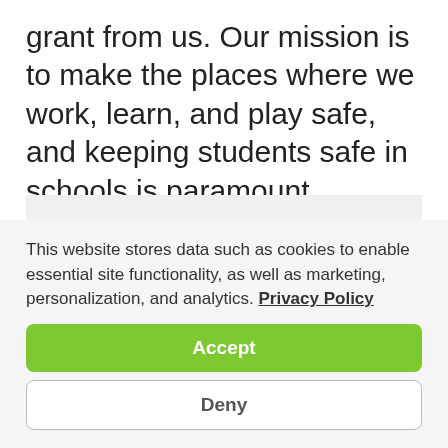grant from us. Our mission is to make the places where we work, learn, and play safe, and keeping students safe in schools is paramount.
[Figure (photo): Black and white photo of a bald man smiling, partially visible, within a light gray box]
This website stores data such as cookies to enable essential site functionality, as well as marketing, personalization, and analytics. Privacy Policy
Accept
Deny